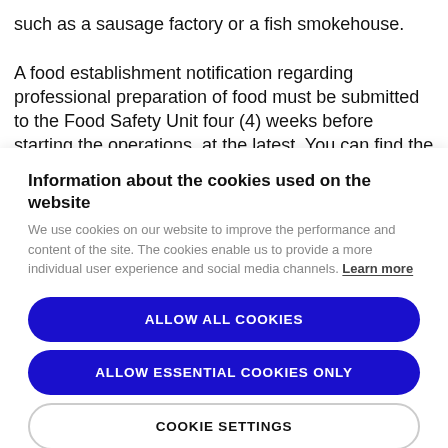such as a sausage factory or a fish smokehouse.
A food establishment notification regarding professional preparation of food must be submitted to the Food Safety Unit four (4) weeks before starting the operations, at the latest. You can find the form for registering the food
Information about the cookies used on the website
We use cookies on our website to improve the performance and content of the site. The cookies enable us to provide a more individual user experience and social media channels. Learn more
ALLOW ALL COOKIES
ALLOW ESSENTIAL COOKIES ONLY
COOKIE SETTINGS